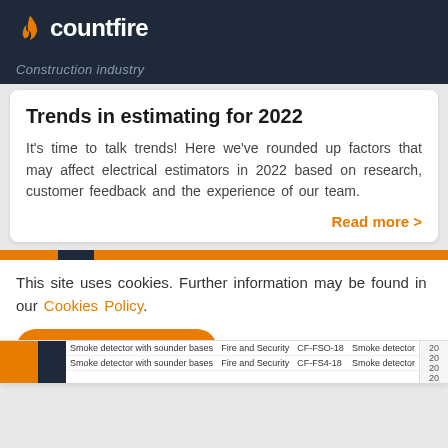countfire
Construction industry
Trends in estimating for 2022
It's time to talk trends! Here we've rounded up factors that may affect electrical estimators in 2022 based on research, customer feedback and the experience of our team.
Read more >
This site uses cookies. Further information may be found in our Cookies Policy.
Accept and close >
| Description | Category | Code | Item | Qty |
| --- | --- | --- | --- | --- |
| Smoke detector with sounder bases | Fire and Security | CF-FSO-18 | Smoke detector | 20 |
| Smoke detector with sounder bases | Fire and Security | CF-FS4-18 | Smoke detector | 20 |
|  |  |  |  | 20 |
|  |  |  |  | 20 |